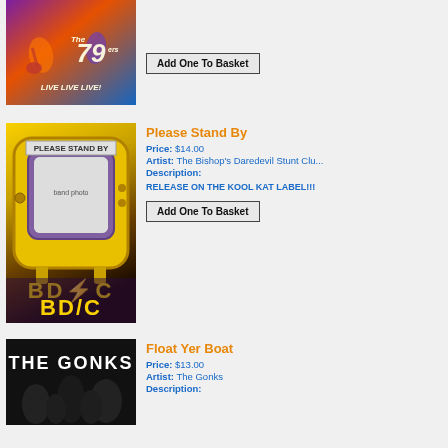[Figure (photo): Album art for The 79ers - Live Live Live!, colorful concert photo with purple/orange/blue tones]
Add One To Basket
[Figure (photo): Album art for Please Stand By by Bishop's Daredevil Stunt Club - yellow retro TV set with band photo on screen, BD/C logo at bottom]
Please Stand By
Price: $14.00
Artist: The Bishop's Daredevil Stunt Club
Description:
RELEASE ON THE KOOL KAT LABEL!!!
Add One To Basket
[Figure (photo): Album art for Float Yer Boat by The Gonks - black background with white bold text THE GONKS]
Float Yer Boat
Price: $13.00
Artist: The Gonks
Description: